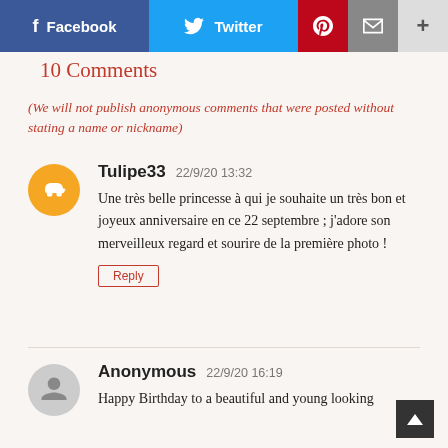[Figure (infographic): Social sharing buttons: Facebook (blue), Twitter (light blue), Pinterest (red), Email (grey), More (light grey)]
10 Comments
(We will not publish anonymous comments that were posted without stating a name or nickname)
Tulipe33  22/9/20 13:32
Une très belle princesse à qui je souhaite un très bon et joyeux anniversaire en ce 22 septembre ; j'adore son merveilleux regard et sourire de la première photo !
Reply
Anonymous  22/9/20 16:19
Happy Birthday to a beautiful and young looking